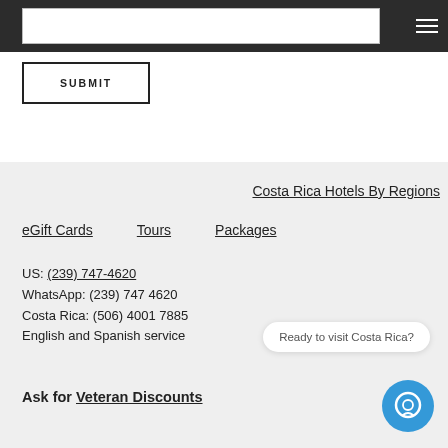SUBMIT
Costa Rica Hotels By Regions
eGift Cards    Tours    Packages
US: (239) 747-4620
WhatsApp: (239) 747 4620
Costa Rica: (506) 4001 7885
English and Spanish service
Ask for Veteran Discounts
Ready to visit Costa Rica?